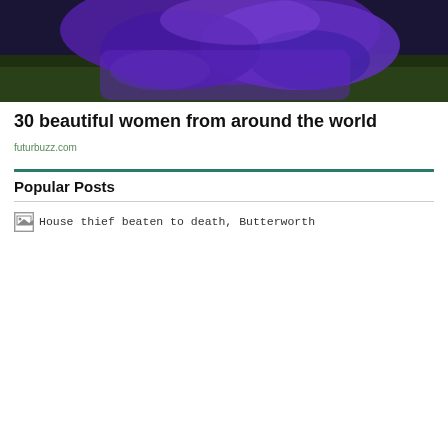[Figure (photo): A woman in a purple dress sitting on grass outdoors]
30 beautiful women from around the world
futurbuzz.com
Popular Posts
House thief beaten to death, Butterworth